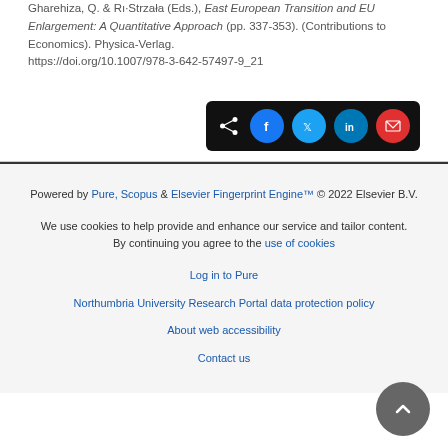Gharehiza, Q. & Strzelak (Eds.), East European Transition and EU Enlargement: A Quantitative Approach (pp. 337-353). (Contributions to Economics). Physica-Verlag. https://doi.org/10.1007/978-3-642-57497-9_21
[Figure (other): Social share buttons bar with icons for Facebook, Twitter, LinkedIn, and Email on a dark background]
Powered by Pure, Scopus & Elsevier Fingerprint Engine™ © 2022 Elsevier B.V.
We use cookies to help provide and enhance our service and tailor content. By continuing you agree to the use of cookies
Log in to Pure
Northumbria University Research Portal data protection policy
About web accessibility
Contact us